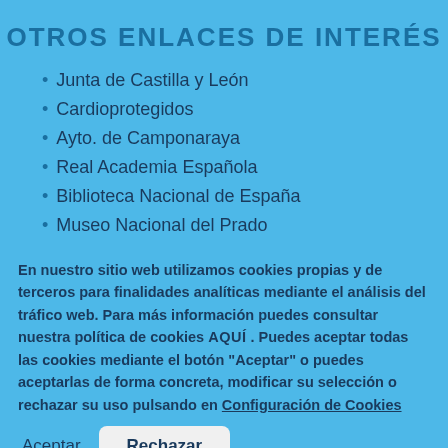OTROS ENLACES DE INTERÉS
Junta de Castilla y León
Cardioprotegidos
Ayto. de Camponaraya
Real Academia Española
Biblioteca Nacional de España
Museo Nacional del Prado
En nuestro sitio web utilizamos cookies propias y de terceros para finalidades analíticas mediante el análisis del tráfico web. Para más información puedes consultar nuestra política de cookies AQUÍ . Puedes aceptar todas las cookies mediante el botón "Aceptar" o puedes aceptarlas de forma concreta, modificar su selección o rechazar su uso pulsando en Configuración de Cookies
Aceptar  Rechazar